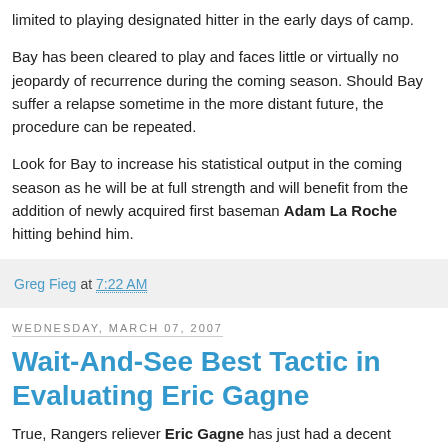limited to playing designated hitter in the early days of camp.
Bay has been cleared to play and faces little or virtually no jeopardy of recurrence during the coming season. Should Bay suffer a relapse sometime in the more distant future, the procedure can be repeated.
Look for Bay to increase his statistical output in the coming season as he will be at full strength and will benefit from the addition of newly acquired first baseman Adam La Roche hitting behind him.
Greg Fieg at 7:22 AM
Wednesday, March 07, 2007
Wait-And-See Best Tactic in Evaluating Eric Gagne
True, Rangers reliever Eric Gagne has just had a decent outing, throwing 40 pitches from a mound with observers